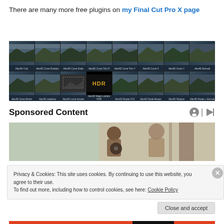There are many more free plugins on my Final Cut Pro X page
[Figure (screenshot): Grid of AlexD Final Cut Pro X plugin thumbnails showing mountain landscape previews. Row 1: AlexD 4 Up, AlexD Curve Rotation, AlexD Curve Scale, AlexD Curve Trim H, AlexD Curve Trim Y, AlexD Curve X, AlexD Curve Y, AlexD Extrude. Row 2: AlexD Grow-Shrink, AlexD Letterbox, AlexD Luma Include, AlexD Magic Lantern HDR, AlexD Rotate XYZ, AlexD Scale Mosaic, AlexD Shadow, AlexD Rotate + Extrude.]
Sponsored Content
[Figure (photo): Photo showing a child or person from behind, indoors, with warm natural light.]
Privacy & Cookies: This site uses cookies. By continuing to use this website, you agree to their use.
To find out more, including how to control cookies, see here: Cookie Policy
Close and accept